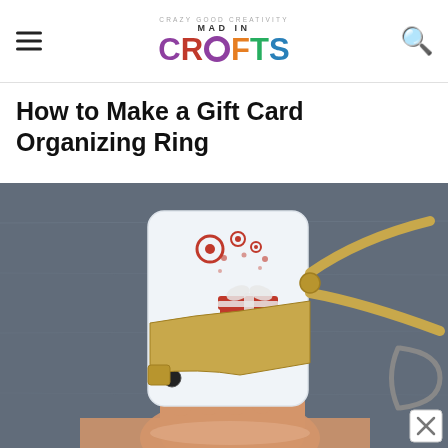Mad in Crafts — Crazy Good Creativity
How to Make a Gift Card Organizing Ring
[Figure (photo): A hand holding a white gift card with red Target-style circular logo and red gift box design, with a gold hole-punch plier tool being used to punch a hole in the card corner, on a dark chalkboard background. Below, another hand is visible from the bottom edge.]